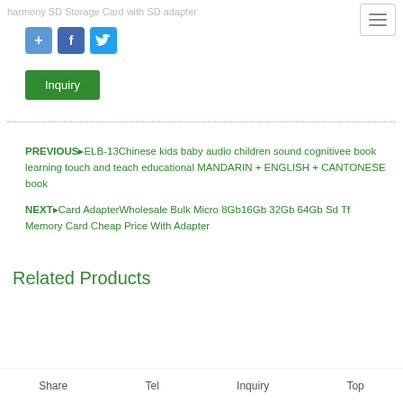harmony SD Storage Card with SD adapter
[Figure (other): Social share icons: Google+, Facebook, Twitter]
Inquiry
PREVIOUS▾LB-13Chinese kids baby audio children sound cognitivee book learning touch and teach educational MANDARIN + ENGLISH + CANTONESE book
NEXT▼ard AdapterWholesale Bulk Micro 8Gb16Gb 32Gb 64Gb Sd Tf Memory Card Cheap Price With Adapter
Related Products
Share   Tel   Inquiry   Top